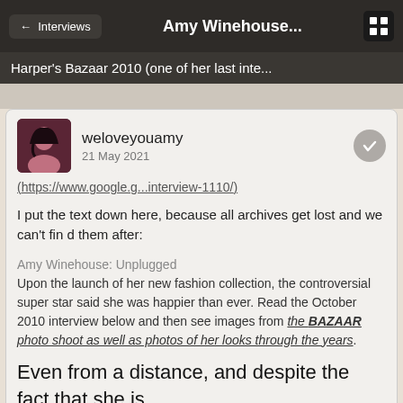← Interviews   Amy Winehouse...   [grid icon]
Harper's Bazaar 2010 (one of her last inte...
weloveyouamy
21 May 2021
(https://www.google.g...interview-1110/)
I put the text down here, because all archives get lost and we can't find them after:
Amy Winehouse: Unplugged
Upon the launch of her new fashion collection, the controversial super star said she was happier than ever. Read the October 2010 interview below and then see images from the BAZAAR photo shoot as well as photos of her looks through the years.
Even from a distance, and despite the fact that she is